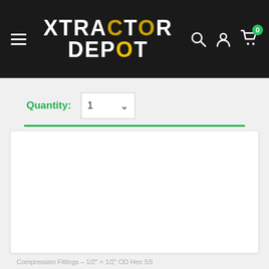Xtractor Depot — navigation header with hamburger menu, logo, search, account, and cart icons
Quantity: 1
[Figure (screenshot): White product content card area below a green separator line]
Compression Fittings – 1/2" × 1/2" OD Hex SS